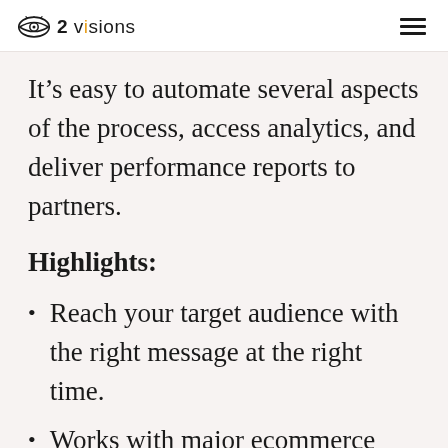2 visions
It’s easy to automate several aspects of the process, access analytics, and deliver performance reports to partners.
Highlights:
Reach your target audience with the right message at the right time.
Works with major ecommerce